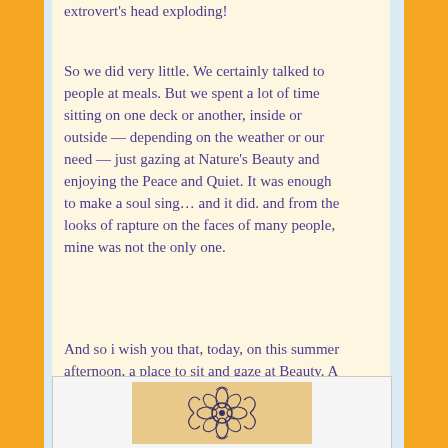extrovert's head exploding!
So we did very little. We certainly talked to people at meals. But we spent a lot of time sitting on one deck or another, inside or outside — depending on the weather or our need — just gazing at Nature's Beauty and enjoying the Peace and Quiet. It was enough to make a soul sing… and it did. and from the looks of rapture on the faces of many people, mine was not the only one.
And so i wish you that, today, on this summer afternoon, a place to sit and gaze at Beauty. A place to still your mind and then heart and soul. Peace. Blessed be.
[Figure (illustration): Decorative floral/mandala ornament illustration on a tan/wheat colored background, featuring scrollwork and leaf motifs in dark ink.]